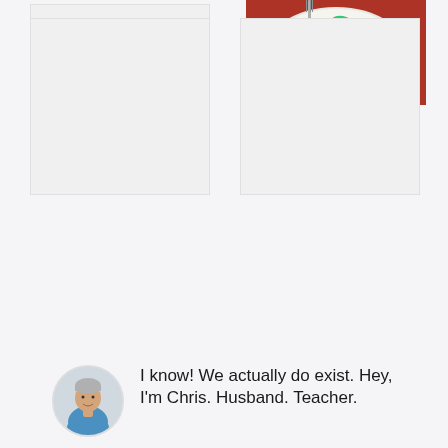[Figure (photo): Blank/white placeholder image, top-left]
[Figure (photo): Food photo: plate of rigatoni pasta with red tomato meat sauce and fresh basil, fork in background]
[Figure (photo): Blank/white placeholder image, bottom-left]
[Figure (photo): Blank/white placeholder image, bottom-right]
I know! We actually do exist. Hey, I'm Chris. Husband. Teacher.